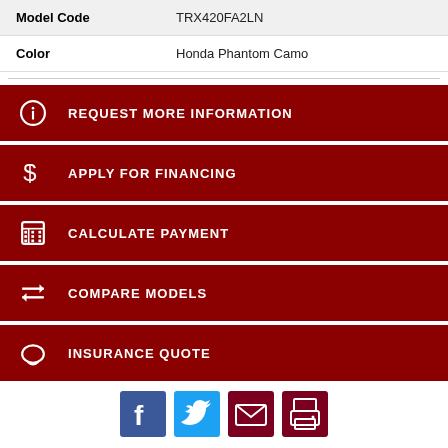| Model Code | TRX420FA2LN |
| Color | Honda Phantom Camo |
REQUEST MORE INFORMATION
APPLY FOR FINANCING
CALCULATE PAYMENT
COMPARE MODELS
INSURANCE QUOTE
[Figure (other): Social share buttons: Facebook, Twitter, Email, Print]